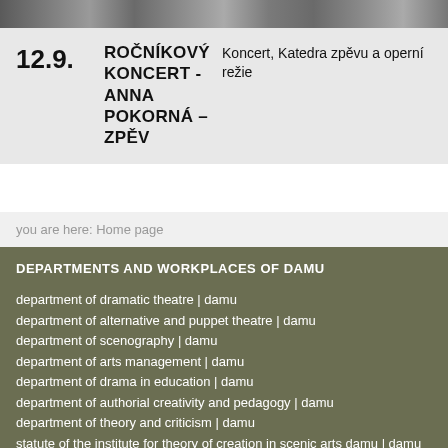[Figure (photo): Photo strip showing a performance or event scene in grayscale]
12.9.
ROČNÍKOVÝ KONCERT - ANNA POKORNÁ – ZPĚV
Koncert, Katedra zpěvu a operní režie
you are here: Home page
DEPARTMENTS AND WORKPLACES OF DAMU
department of dramatic theatre | damu
department of alternative and puppet theatre | damu
department of scenography | damu
department of arts management | damu
department of drama in education | damu
department of authorial creativity and pedagogy | damu
department of theory and criticism | damu
statute of the institute for theory of creation in scenic arts damu | damu
the institute for research into and study of authorial acting | damu
institute for research and study of alternative theatre | damu (partial)